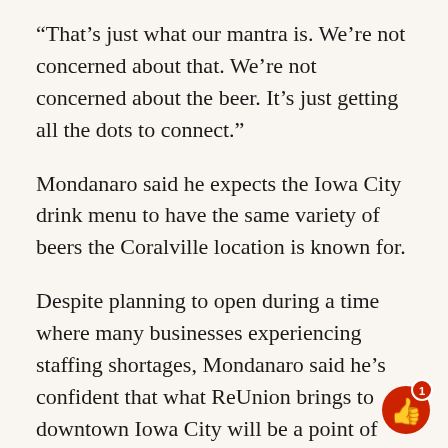“That’s just what our mantra is. We’re not concerned about that. We’re not concerned about the beer. It’s just getting all the dots to connect.”
Mondanaro said he expects the Iowa City drink menu to have the same variety of beers the Coralville location is known for.
Despite planning to open during a time where many businesses experiencing staffing shortages, Mondanaro said he’s confident that what ReUnion brings to downtown Iowa City will be a point of attraction for potential employees, and that he will find the right people.
As the owner of Bread Garden Market and Joseph’s Steakhouse, Mondanaro said he is famil…